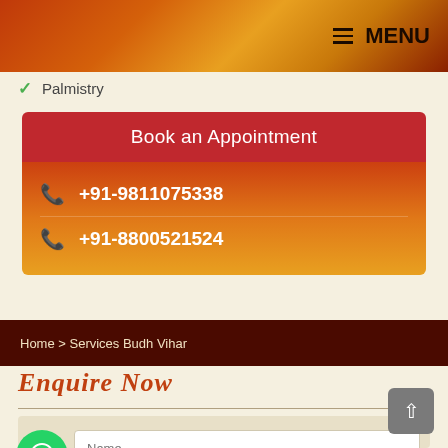MENU
Palmistry
Book an Appointment
+91-9811075338
+91-8800521524
Home > Services Budh Vihar
Enquire Now
Name
Enter Email ID
Your Phone Number